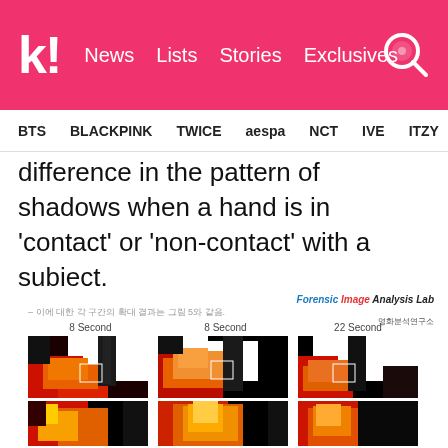k! News Lists Stories Exclusives
BTS BLACKPINK TWICE aespa NCT IVE ITZY
difference in the pattern of shadows when a hand is in ‘contact’ or ‘non-contact’ with a subject.
[Figure (photo): Forensic Image Analysis Lab document showing three thermal/false-color images of a hand in contact and non-contact positions with a subject, at timestamps 8 Second, 8 Second, and 22 Second, with Korean caption text, plus three zoomed crop images below.]